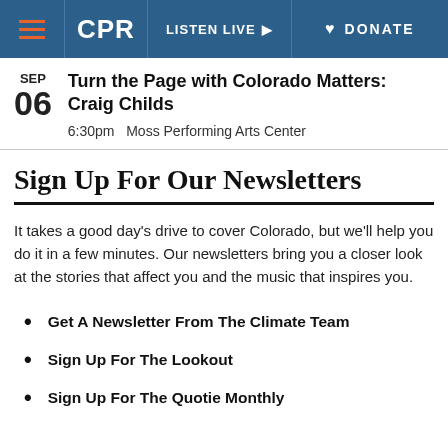CPR | LISTEN LIVE | DONATE
Turn the Page with Colorado Matters: Craig Childs
6:30pm  Moss Performing Arts Center
Sign Up For Our Newsletters
It takes a good day's drive to cover Colorado, but we'll help you do it in a few minutes. Our newsletters bring you a closer look at the stories that affect you and the music that inspires you.
Get A Newsletter From The Climate Team
Sign Up For The Lookout
Sign Up For The Quotie Monthly